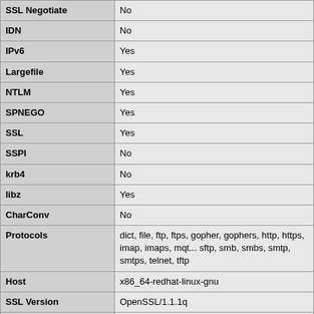| Feature | Value |
| --- | --- |
| SSL Negotiate | No |
| IDN | No |
| IPv6 | Yes |
| Largefile | Yes |
| NTLM | Yes |
| SPNEGO | Yes |
| SSL | Yes |
| SSPI | No |
| krb4 | No |
| libz | Yes |
| CharConv | No |
| Protocols | dict, file, ftp, ftps, gopher, gophers, http, https, imap, imaps, mqt... sftp, smb, smbs, smtp, smtps, telnet, tftp |
| Host | x86_64-redhat-linux-gnu |
| SSL Version | OpenSSL/1.1.1q |
| ZLib Version | 1.2.3 |
| libSSH Version | libssh2/1.4.2 |
date
| date/time support |
| --- |
| "Olson" Timezone Database Version |